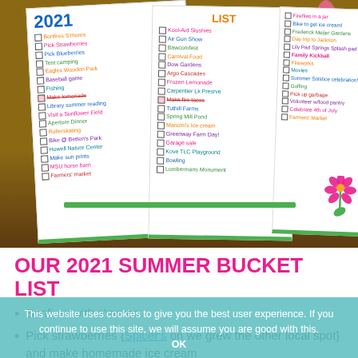[Figure (photo): Photo of handwritten 2021 Summer Bucket List papers on mulch background with pink flowers, showing three overlapping white papers with colorful handwritten lists of summer activities including bonfires, strawberry picking, camping, and more.]
OUR 2021 SUMMER BUCKET LIST
Bonfires with s'mores
Pick strawberries {Spicer's on we grew the other local spot} and make homemade ice cream
Tent camping {we are checking out Hungry Horse Campground in Dorr, Michigan this year}
Visit Eagles Wooden Park and nature trail in
This website uses cookies to give you the best user experience. If you continue to use this site, we will assume you are good with this. OK